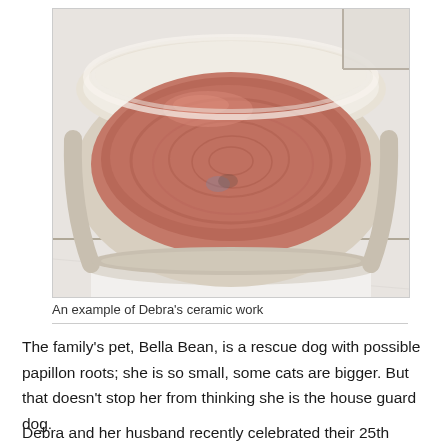[Figure (photo): A ceramic bowl with a reddish-pink interior and off-white/beige exterior, sitting on a white tiled surface. The bowl appears handmade with an earthy, rustic finish.]
An example of Debra's ceramic work
The family's pet, Bella Bean, is a rescue dog with possible papillon roots; she is so small, some cats are bigger. But that doesn't stop her from thinking she is the house guard dog.
Debra and her husband recently celebrated their 25th